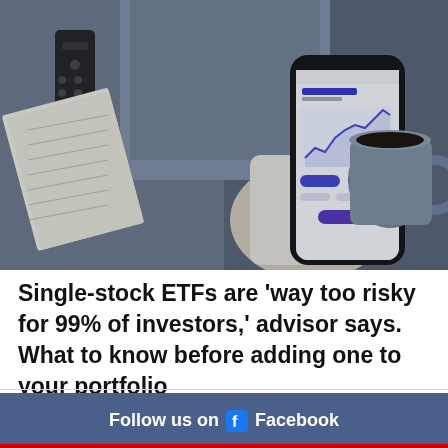[Figure (photo): Overhead view of a person holding a smartphone displaying a financial app with a line chart labeled 'Account Value'. A remote control, a notebook, and a coffee mug are visible nearby. The person is wearing jeans and a white top.]
Single-stock ETFs are 'way too risky for 99% of investors,' advisor says. What to know before adding one to your portfolio
Follow us on Facebook